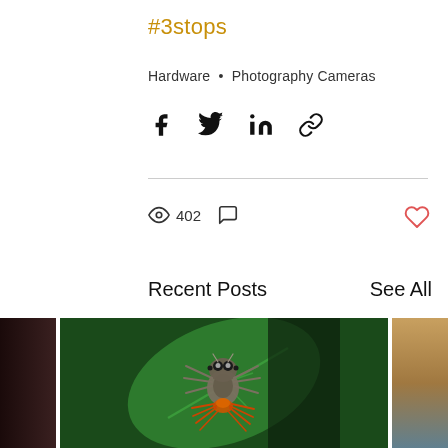#3stops
Hardware • Photography Cameras
[Figure (infographic): Social share icons: Facebook, Twitter, LinkedIn, Link]
[Figure (infographic): View count icon with 402 views, comment icon, and heart/like icon]
Recent Posts
See All
[Figure (photo): Three post thumbnails in a row: partial dark image on left, center macro photo of a jumping spider on green leaf holding an orange spider, partial golden/sandy landscape image on right]
NiSi Close Up Lens - A Day in th...